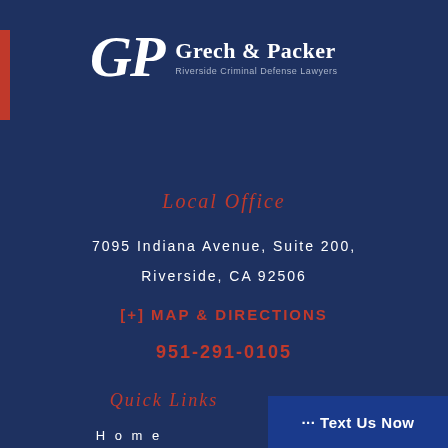[Figure (logo): Grech & Packer law firm logo with GP initials and text 'Riverside Criminal Defense Lawyers']
Local Office
7095 Indiana Avenue, Suite 200, Riverside, CA 92506
[+] MAP & DIRECTIONS
951-291-0105
Quick Links
··· Text Us Now
Home